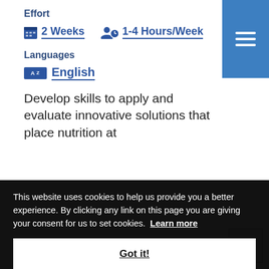Effort
2 Weeks   1-4 Hours/Week
Languages
English
Develop skills to apply and evaluate innovative solutions that place nutrition at
This website uses cookies to help us provide you a better experience. By clicking any link on this page you are giving your consent for us to set cookies.  Learn more
Got it!
Agriculture, Food Security,